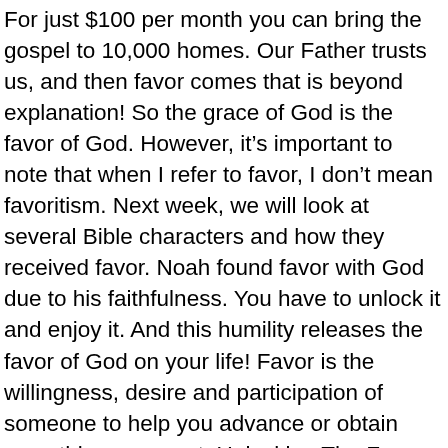For just $100 per month you can bring the gospel to 10,000 homes. Our Father trusts us, and then favor comes that is beyond explanation! So the grace of God is the favor of God. However, it's important to note that when I refer to favor, I don't mean favoritism. Next week, we will look at several Bible characters and how they received favor. Noah found favor with God due to his faithfulness. You have to unlock it and enjoy it. And this humility releases the favor of God on your life! Favor is the willingness, desire and participation of someone to help you advance or obtain something you want. Unlocking The Favor of God Upon Your Life: N/A - eBook (9781449752965) by Tommy Rodriguez Hear about sales, receive special offers & more. Yet Haggai also shows the causes and reasons why people lose God's blessing — and what they must do to come back into His favor! He paid the price and suffered in our place. "When the turn came for Esther to go to the king, she asked for nothing other than what Hegai, the king's eunuch who was in charge of the harem, suggested." (Esther 2:15). Build the foundation of your faith upon the bedrock of holiness and you